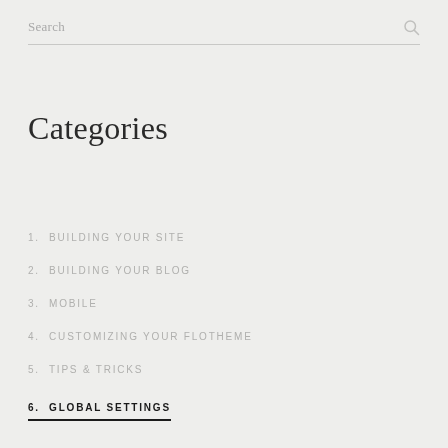Search
Categories
1. BUILDING YOUR SITE
2. BUILDING YOUR BLOG
3. MOBILE
4. CUSTOMIZING YOUR FLOTHEME
5. TIPS & TRICKS
6. GLOBAL SETTINGS